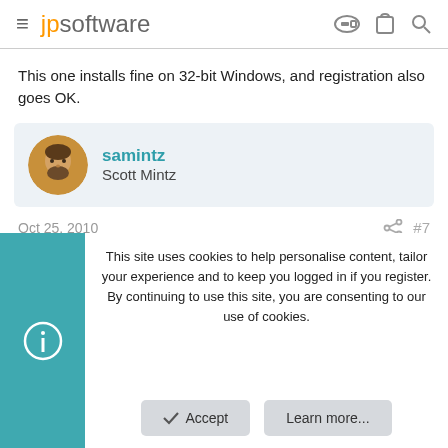jpsoftware
This one installs fine on 32-bit Windows, and registration also goes OK.
samintz
Scott Mintz
Oct 25, 2010  #7
I ran into an odd install inssue. While build 30 installed and runs fine,
This site uses cookies to help personalise content, tailor your experience and to keep you logged in if you register.
By continuing to use this site, you are consenting to our use of cookies.